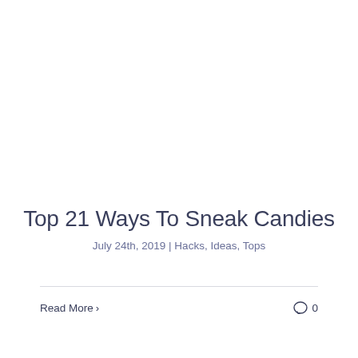Top 21 Ways To Sneak Candies
July 24th, 2019 | Hacks, Ideas, Tops
Read More >
0